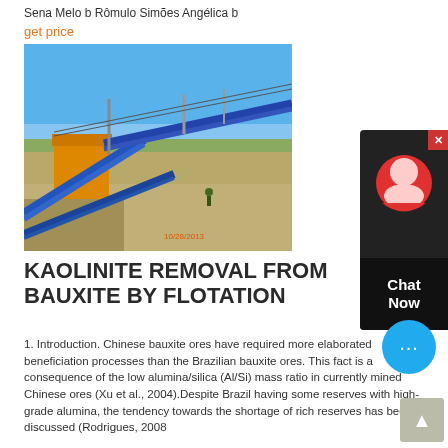Sena Melo b Rômulo Simões Angélica b
get price
[Figure (photo): Industrial mining equipment with blue conveyor belts and machinery at an open-pit site. Timestamp reads 10/28/2013.]
KAOLINITE REMOVAL FROM BAUXITE BY FLOTATION
1. Introduction. Chinese bauxite ores have required more elaborated beneficiation processes than the Brazilian bauxite ores. This fact is a consequence of the low alumina/silica (Al/Si) mass ratio in currently mined Chinese ores (Xu et al., 2004).Despite Brazil having some reserves with high-grade alumina, the tendency towards the shortage of rich reserves has been discussed (Rodrigues, 2008